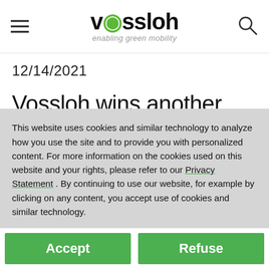Vossloh — enabling green mobility
12/14/2021
Vossloh wins another major order from China for
This website uses cookies and similar technology to analyze how you use the site and to provide you with personalized content. For more information on the cookies used on this website and your rights, please refer to our Privacy Statement . By continuing to use our website, for example by clicking on any content, you accept use of cookies and similar technology.
Accept
Refuse